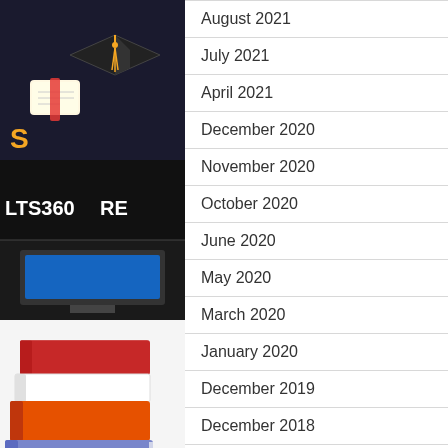[Figure (illustration): Graduation cap with diploma and yellow ribbon on dark background, education themed]
[Figure (illustration): Dark banner showing LTS360 RE text - educational platform branding]
[Figure (illustration): Stack of colorful books illustration]
August 2021
July 2021
April 2021
December 2020
November 2020
October 2020
June 2020
May 2020
March 2020
January 2020
December 2019
December 2018
July 2018
[Figure (illustration): Globe with graduation cap illustration]
[Figure (illustration): Chalkboard with science/technology themed illustration]